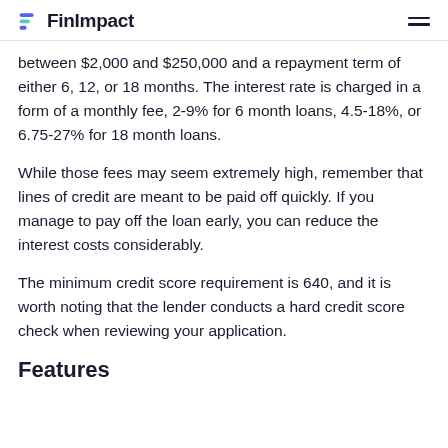FinImpact
between $2,000 and $250,000 and a repayment term of either 6, 12, or 18 months. The interest rate is charged in a form of a monthly fee, 2-9% for 6 month loans, 4.5-18%, or 6.75-27% for 18 month loans.
While those fees may seem extremely high, remember that lines of credit are meant to be paid off quickly. If you manage to pay off the loan early, you can reduce the interest costs considerably.
The minimum credit score requirement is 640, and it is worth noting that the lender conducts a hard credit score check when reviewing your application.
Features